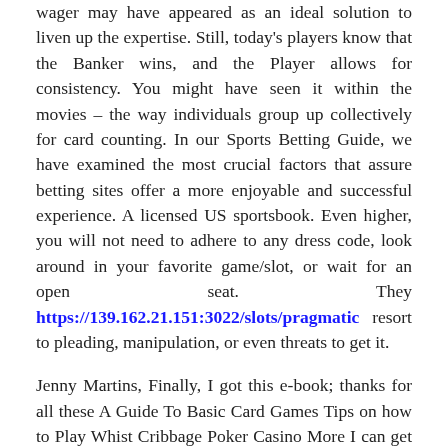wager may have appeared as an ideal solution to liven up the expertise. Still, today's players know that the Banker wins, and the Player allows for consistency. You might have seen it within the movies – the way individuals group up collectively for card counting. In our Sports Betting Guide, we have examined the most crucial factors that assure betting sites offer a more enjoyable and successful experience. A licensed US sportsbook. Even higher, you will not need to adhere to any dress code, look around in your favorite game/slot, or wait for an open seat. They https://139.162.21.151:3022/slots/pragmatic resort to pleading, manipulation, or even threats to get it.
Jenny Martins, Finally, I got this e-book; thanks for all these A Guide To Basic Card Games Tips on how to Play Whist Cribbage Poker Casino More I can get a now! However, casinos that take Mastercard may also have high-minimum deposits. Even provide other cost choices